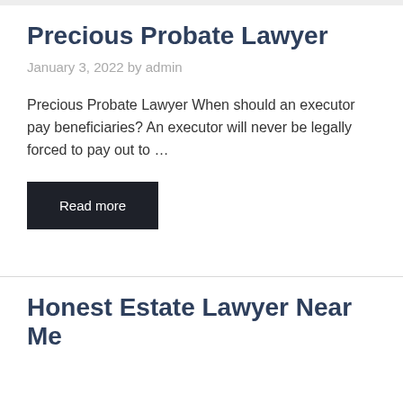Precious Probate Lawyer
January 3, 2022 by admin
Precious Probate Lawyer When should an executor pay beneficiaries? An executor will never be legally forced to pay out to …
Read more
Honest Estate Lawyer Near Me